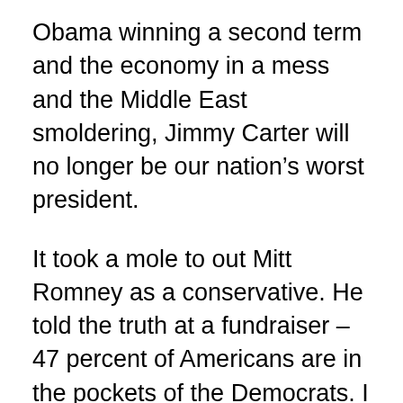Obama winning a second term and the economy in a mess and the Middle East smoldering, Jimmy Carter will no longer be our nation's worst president.
It took a mole to out Mitt Romney as a conservative. He told the truth at a fundraiser – 47 percent of Americans are in the pockets of the Democrats. I should say that the 47 percent of the American people are in OUR pockets! These people vote for Democrats because they believe the Democrats will give them other people's money. Obama said it himself at a 1998